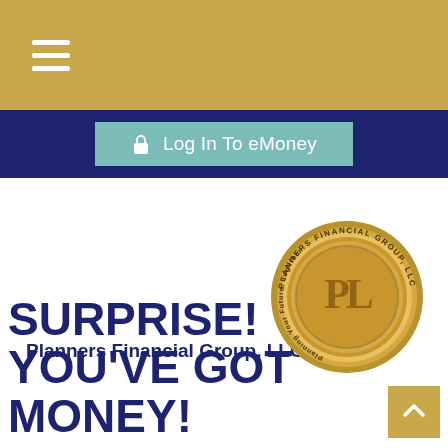[Figure (screenshot): Golden/tan top navigation bar with hamburger menu (three white horizontal lines) on the left]
[Figure (screenshot): Dark navy blue navigation bar with a teal/seafoam colored 'Log In To eMoney' button featuring a lock icon, centered on the bar]
Planners Financial Group, LLC
[Figure (logo): Circular gold coin-style logo with 'PLANNERS FINANCIAL GROUP, LLC' text around the border, stylized 'PL' letters in center, and 'Planning Your Future, Together' text at bottom]
SURPRISE! YOU'VE GOT MONEY!